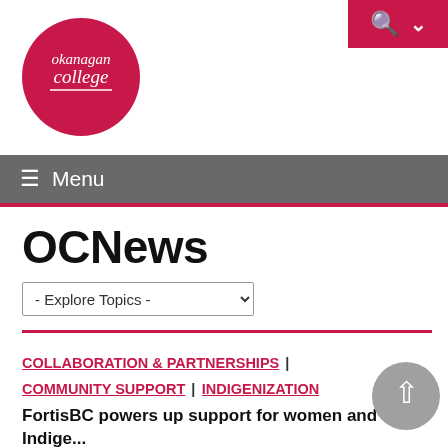[Figure (logo): Okanagan College circular logo — white text on red/pink circle reading 'okanagan college' with a horizontal line beneath the text]
Menu
OCNews
- Explore Topics -
COLLABORATION & PARTNERSHIPS | COMMUNITY SUPPORT | INDIGENIZATION
FortisBC powers up support for women and Indigenous students